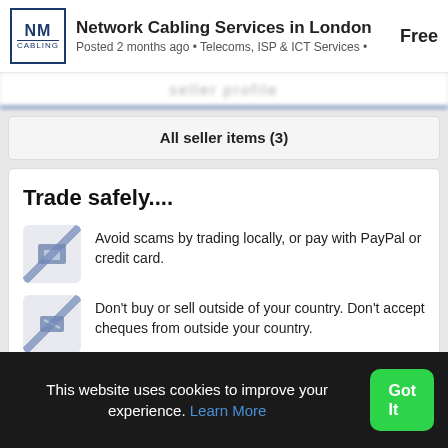Network Cabling Services in London | Free | Posted 2 months ago • Telecoms, ISP & ICT Services •
All seller items (3)
Trade safely....
Avoid scams by trading locally, or pay with PayPal or credit card.
Don't buy or sell outside of your country. Don't accept cheques from outside your country.
See our Trade Safely page for more information.
Report listing
This website uses cookies to improve your experience. Learn More